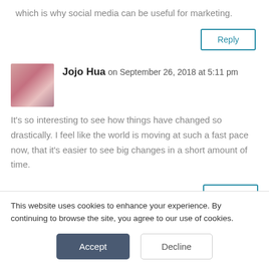which is why social media can be useful for marketing.
Reply
Jojo Hua on September 26, 2018 at 5:11 pm
It's so interesting to see how things have changed so drastically. I feel like the world is moving at such a fast pace now, that it's easier to see big changes in a short amount of time.
Reply
This website uses cookies to enhance your experience. By continuing to browse the site, you agree to our use of cookies.
Accept
Decline